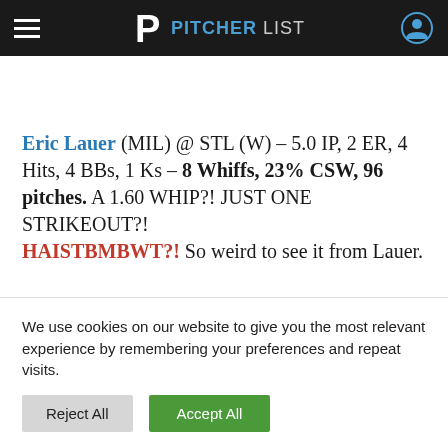PITCHERLIST
Eric Lauer (MIL) @ STL (W) – 5.0 IP, 2 ER, 4 Hits, 4 BBs, 1 Ks – 8 Whiffs, 23% CSW, 96 pitches. A 1.60 WHIP?! JUST ONE STRIKEOUT?! HAISTBMBWT?! So weird to see it from Lauer.
We use cookies on our website to give you the most relevant experience by remembering your preferences and repeat visits.